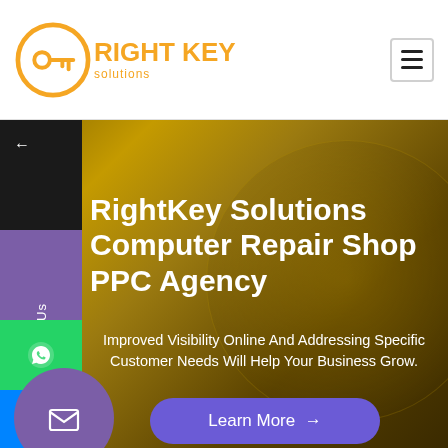[Figure (logo): Right Key Solutions logo with orange key icon and orange text]
RightKey Solutions Computer Repair Shop PPC Agency
Improved Visibility Online And Addressing Specific Customer Needs Will Help Your Business Grow.
Learn More →